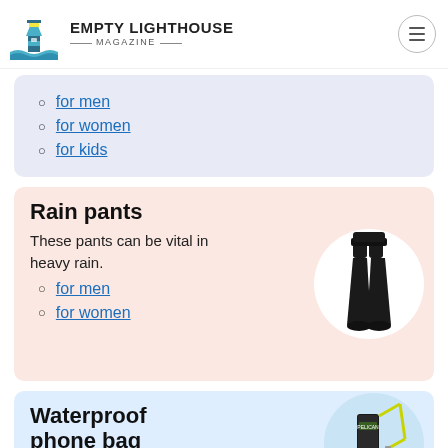EMPTY LIGHTHOUSE MAGAZINE
for men
for women
for kids
Rain pants
These pants can be vital in heavy rain.
[Figure (photo): Person wearing black rain pants, shown from waist down, displayed in circular frame on pink background]
for men
for women
Waterproof phone bag
[Figure (photo): Waterproof phone bag with yellow lanyard, displayed in circular frame on light blue background]